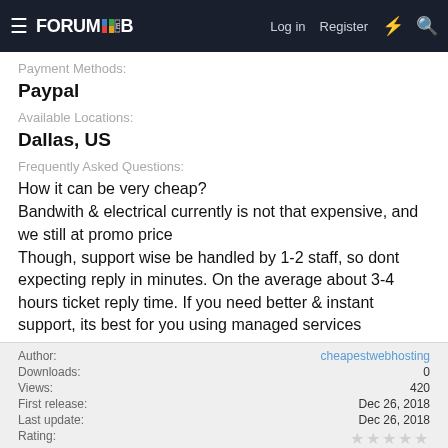FORUMWEB — Log in  Register
Payment Methods:
Paypal
Available Locations:
Dallas, US
Frequently Asked Questions:
How it can be very cheap?
Bandwith & electrical currently is not that expensive, and we still at promo price
Though, support wise be handled by 1-2 staff, so dont expecting reply in minutes. On the average about 3-4 hours ticket reply time. If you need better & instant support, its best for you using managed services
| Field | Value |
| --- | --- |
| Author: | cheapestwebhosting |
| Downloads: | 0 |
| Views: | 420 |
| First release: | Dec 26, 2018 |
| Last update: | Dec 26, 2018 |
| Rating: | ★★★★★  0 ratings |